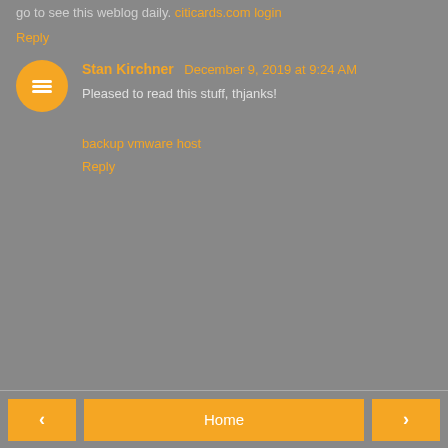go to see this weblog daily. citicards.com login
Reply
Stan Kirchner  December 9, 2019 at 9:24 AM
Pleased to read this stuff, thjanks!
backup vmware host
Reply
< Home >